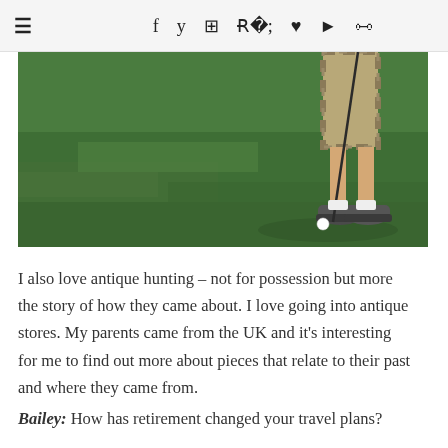≡  f  🐦  📷  p  ♥  ▶  )))
[Figure (photo): A person standing on a golf course green, visible from the waist down, wearing shorts and athletic shoes, holding a golf club near a golf ball on the grass.]
I also love antique hunting – not for possession but more the story of how they came about. I love going into antique stores. My parents came from the UK and it's interesting for me to find out more about pieces that relate to their past and where they came from.
Bailey: How has retirement changed your travel plans?